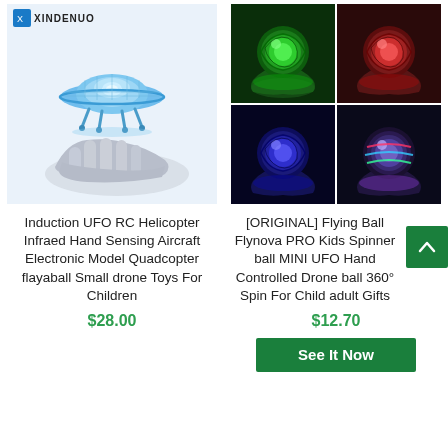[Figure (photo): Blue UFO RC drone hovering above a robotic hand on white background, with XINDENUO logo in top left corner]
[Figure (photo): 2x2 grid of photos showing a glowing spinning ball held in a hand in four color variations: green, red, blue, and multicolor]
Induction UFO RC Helicopter Infraed Hand Sensing Aircraft Electronic Model Quadcopter flayaball Small drone Toys For Children
$28.00
[ORIGINAL] Flying Ball Flynova PRO Kids Spinner ball MINI UFO Hand Controlled Drone ball 360° Spin For Child adult Gifts
$12.70
See It Now